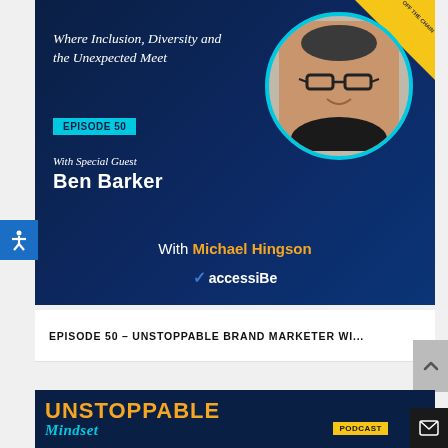[Figure (other): Podcast promotional card for 'Unstoppable Mindset' Episode 50 featuring special guest Ben Barker with host Michael Hingson, sponsored by accessiBe. Dark navy background with cyan/teal accents, circular guest photo, tagline 'Where Inclusion, Diversity and the Unexpected Meet'.]
EPISODE 50 – UNSTOPPABLE BRAND MARKETER WI...
[Figure (other): Bottom portion of another Unstoppable Mindset Podcast card showing the show title in gold/orange (UNSTOPPABLE), Mindset in teal italic, and PODCAST badge in yellow.]